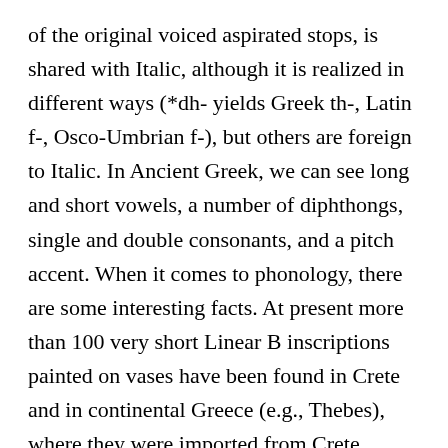of the original voiced aspirated stops, is shared with Italic, although it is realized in different ways (*dh- yields Greek th-, Latin f-, Osco-Umbrian f-), but others are foreign to Italic. In Ancient Greek, we can see long and short vowels, a number of diphthongs, single and double consonants, and a pitch accent. When it comes to phonology, there are some interesting facts. At present more than 100 very short Linear B inscriptions painted on vases have been found in Crete and in continental Greece (e.g., Thebes), where they were imported from Crete. Classical Greek Online Twenty-Fifth Annual Summer Language Program Click here to book course. It also has...